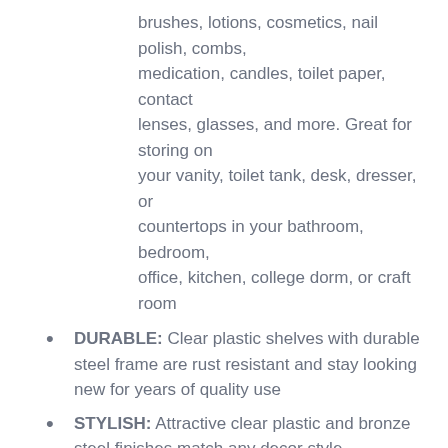brushes, lotions, cosmetics, nail polish, combs, medication, candles, toilet paper, contact lenses, glasses, and more. Great for storing on your vanity, toilet tank, desk, dresser, or countertops in your bathroom, bedroom, office, kitchen, college dorm, or craft room
DURABLE: Clear plastic shelves with durable steel frame are rust resistant and stay looking new for years of quality use
STYLISH: Attractive clear plastic and bronze steel finishes match any decor style
REMOVABLE TRAYS: Plastic shelves are removable for easy cleaning
IDEAL SIZE: Measures 10.5" x 6.5" x 6", making it suitable for compact spaces
Publisher: InterDesign
Details: